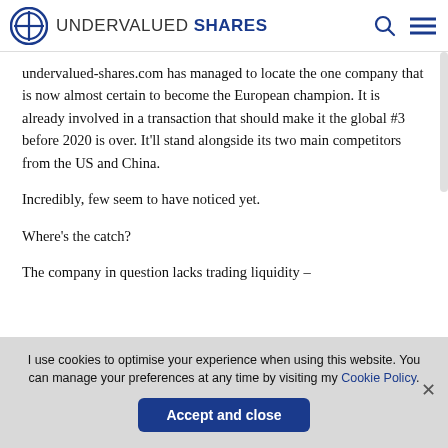UNDERVALUED SHARES
undervalued-shares.com has managed to locate the one company that is now almost certain to become the European champion. It is already involved in a transaction that should make it the global #3 before 2020 is over. It'll stand alongside its two main competitors from the US and China.
Incredibly, few seem to have noticed yet.
Where's the catch?
The company in question lacks trading liquidity –
I use cookies to optimise your experience when using this website. You can manage your preferences at any time by visiting my Cookie Policy.